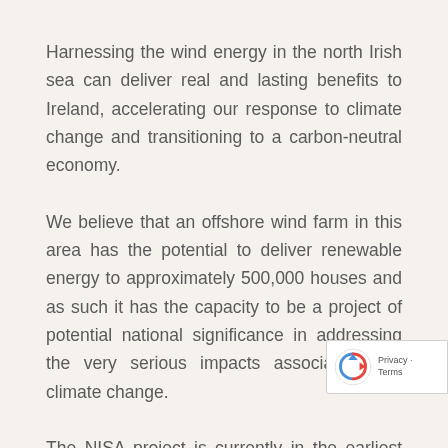Harnessing the wind energy in the north Irish sea can deliver real and lasting benefits to Ireland, accelerating our response to climate change and transitioning to a carbon-neutral economy.
We believe that an offshore wind farm in this area has the potential to deliver renewable energy to approximately 500,000 houses and as such it has the capacity to be a project of potential national significance in addressing the very serious impacts associated with climate change.
The NISA project is currently in the earliest stages of development. This offers us a chance to consult with local communities and wider stakeholders, during the design stage, in order to develop the most suitable and